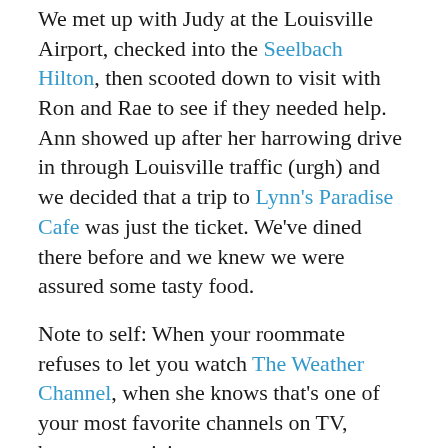We met up with Judy at the Louisville Airport, checked into the Seelbach Hilton, then scooted down to visit with Ron and Rae to see if they needed help. Ann showed up after her harrowing drive in through Louisville traffic (urgh) and we decided that a trip to Lynn's Paradise Cafe was just the ticket. We've dined there before and we knew we were assured some tasty food.
Note to self: When your roommate refuses to let you watch The Weather Channel, when she knows that's one of your most favorite channels on TV, become suspicious.
We got to Lynn's, and just as we put our name in for a table, they herded us down to the basement for a TORNADO WARNING. I take these things seriously. Evidently so does Louisville. I have nightmares where tornadoes chase me. I don't know if Louisville does, but they were definitely above the rest in that respect.